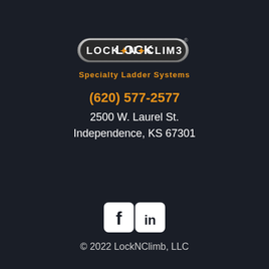[Figure (logo): LockNClimb Specialty Ladder Systems logo with stylized text on grey banner and orange tagline]
(620) 577-2577
2500 W. Laurel St.
Independence, KS 67301
[Figure (illustration): Social media icons: Facebook and LinkedIn rounded square icons in white]
© 2022 LockNClimb, LLC